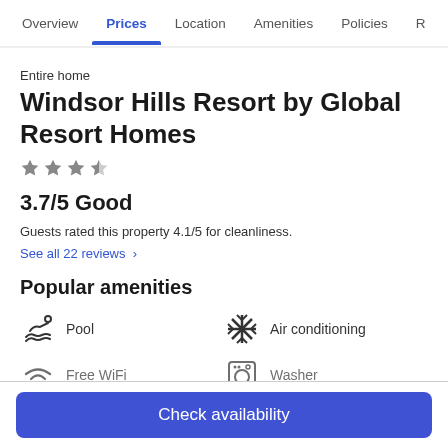Overview | Prices | Location | Amenities | Policies | R...
Entire home
Windsor Hills Resort by Global Resort Homes
★★★½
3.7/5 Good
Guests rated this property 4.1/5 for cleanliness.
See all 22 reviews ›
Popular amenities
Pool
Air conditioning
Free WiFi
Washer
Check availability